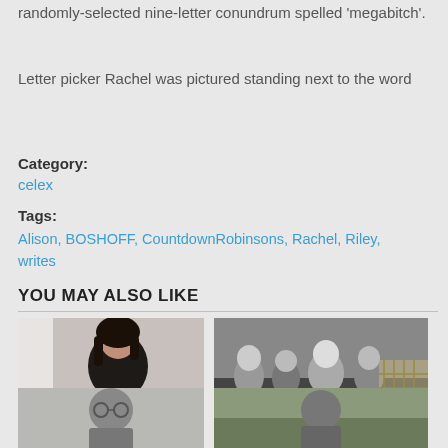randomly-selected nine-letter conundrum spelled 'megabitch'.
Letter picker Rachel was pictured standing next to the word
Category:
celex
Tags:
Alison, BOSHOFF, CountdownRobinsons, Rachel, Riley, writes
YOU MAY ALSO LIKE
[Figure (photo): Portrait of a dark-haired woman in black top]
Family, far more than ...
[Figure (photo): Black and white photo of people outdoors, possibly royalty or public event]
Princess Diana had it ...
[Figure (photo): Partial image at bottom left, person figure]
[Figure (photo): Partial image at bottom right, person outdoors]